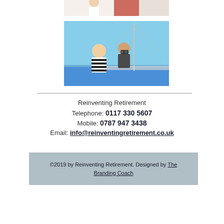[Figure (photo): Partial photo of people, cropped at top of page]
[Figure (photo): Two people on a sailboat looking through binoculars on blue sea]
Reinventing Retirement
Telephone: 0117 330 5607
Mobile: 0787 947 3438
Email: info@reinventingretirement.co.uk
©2019 by Reinventing Retirement. Designed by The Branding Coach